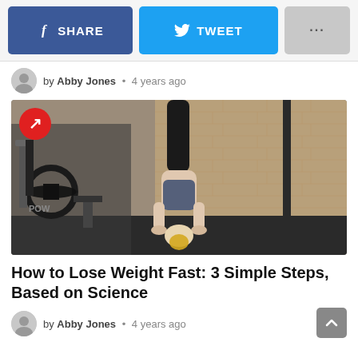[Figure (infographic): Social sharing bar with Facebook Share button (blue), Twitter Tweet button (light blue), and a grey more options (...) button]
by Abby Jones • 4 years ago
[Figure (photo): Woman doing a handstand in a gym with weight equipment and brick wall in the background. A red Newsner logo badge is in the top left corner.]
How to Lose Weight Fast: 3 Simple Steps, Based on Science
by Abby Jones • 4 years ago